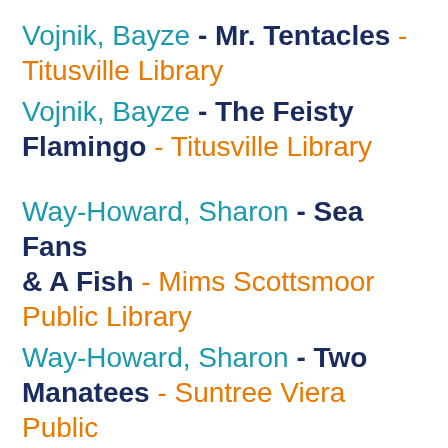Vojnik, Bayze - Mr. Tentacles - Titusville Library
Vojnik, Bayze - The Feisty Flamingo - Titusville Library
Way-Howard, Sharon - Sea Fans & A Fish - Mims Scottsmoor Public Library
Way-Howard, Sharon - Two Manatees - Suntree Viera Public Library